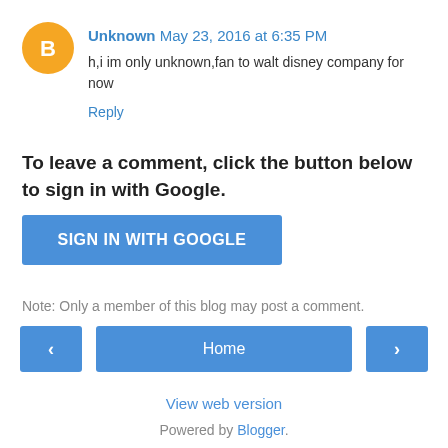Unknown May 23, 2016 at 6:35 PM
h,i im only unknown,fan to walt disney company for now
Reply
To leave a comment, click the button below to sign in with Google.
[Figure (other): SIGN IN WITH GOOGLE button (blue rounded rectangle)]
Note: Only a member of this blog may post a comment.
[Figure (other): Navigation bar with left arrow, Home button, right arrow]
View web version
Powered by Blogger.